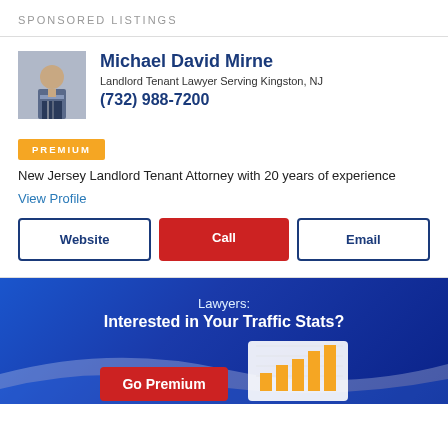SPONSORED LISTINGS
[Figure (photo): Headshot photo of lawyer Michael David Mirne in a suit]
Michael David Mirne
Landlord Tenant Lawyer Serving Kingston, NJ
(732) 988-7200
PREMIUM
New Jersey Landlord Tenant Attorney with 20 years of experience
View Profile
Website
Call
Email
Lawyers:
Interested in Your Traffic Stats?
Go Premium
[Figure (bar-chart): Small preview bar chart with orange bars showing traffic stats]